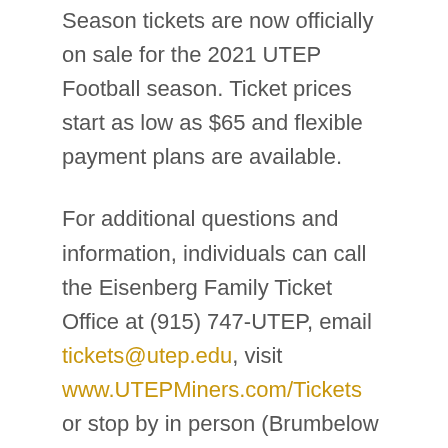Season tickets are now officially on sale for the 2021 UTEP Football season. Ticket prices start as low as $65 and flexible payment plans are available.
For additional questions and information, individuals can call the Eisenberg Family Ticket Office at (915) 747-UTEP, email tickets@utep.edu, visit www.UTEPMiners.com/Tickets or stop by in person (Brumbelow Building on UTEP campus, 201 Glory Road) Monday-Friday, 8 a.m. to 5 p.m.
The 2021 UTEP Football season opens on Saturday, Aug. 28 with the “Battle of I-10” versus NM State in Las Cruces. Kickoff is set for 7:30 p.m.